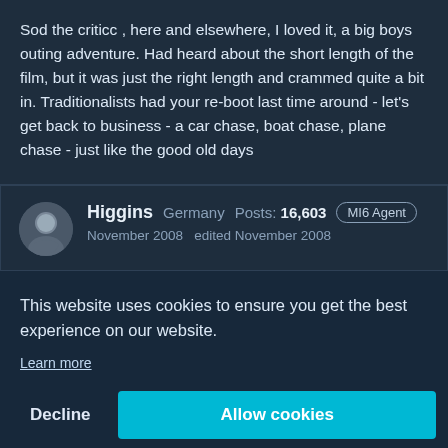Sod the criticc , here and elsewhere, I loved it, a big boys outing adventure. Had heard about the short length of the film, but it was just the right length and crammed quite a bit in. Traditionalists had your re-boot last time around - let's get back to business - a car chase, boat chase, plane chase - just like the good old days
Higgins   Germany   Posts: 16,603   MI6 Agent
November 2008   edited November 2008
This website uses cookies to ensure you get the best experience on our website.
Learn more
Decline   Allow cookies
he always looked like someone who was trying to